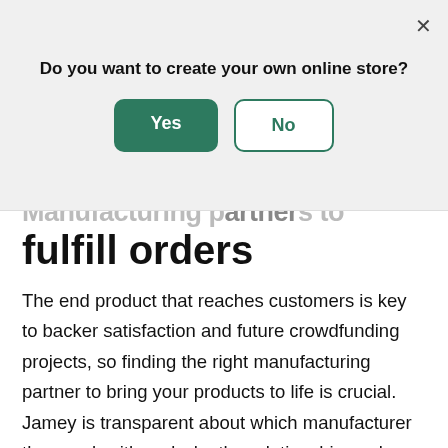[Figure (screenshot): A modal dialog overlay with the question 'Do you want to create your own online store?' and two buttons: 'Yes' (green filled) and 'No' (green outlined), with a close X in the top right corner.]
Manufacturing partners to fulfill orders
The end product that reaches customers is key to backer satisfaction and future crowdfunding projects, so finding the right manufacturing partner to bring your products to life is crucial. Jamey is transparent about which manufacturer they work with and why the relationship works so well. “I’ve worked with the same manufacturer called Panda. It’s a Canadian company that has its main factory in China,”